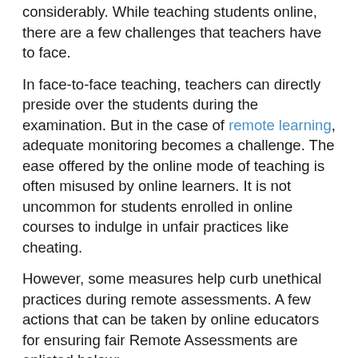considerably. While teaching students online, there are a few challenges that teachers have to face.
In face-to-face teaching, teachers can directly preside over the students during the examination. But in the case of remote learning, adequate monitoring becomes a challenge. The ease offered by the online mode of teaching is often misused by online learners. It is not uncommon for students enrolled in online courses to indulge in unfair practices like cheating.
However, some measures help curb unethical practices during remote assessments. A few actions that can be taken by online educators for ensuring fair Remote Assessments are enlisted below:
Build a Feedback System:
During online teaching, it is impossible to ascertain